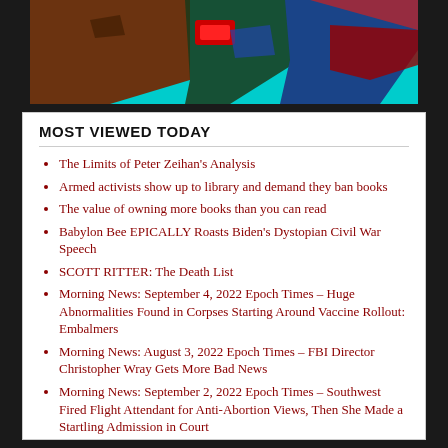[Figure (map): Colored map of the United States showing regional divisions in brown, dark blue, blue, red, and cyan/teal colors]
MOST VIEWED TODAY
The Limits of Peter Zeihan's Analysis
Armed activists show up to library and demand they ban books
The value of owning more books than you can read
Babylon Bee EPICALLY Roasts Biden's Dystopian Civil War Speech
SCOTT RITTER: The Death List
Morning News: September 4, 2022 Epoch Times – Huge Abnormalities Found in Corpses Starting Around Vaccine Rollout: Embalmers
Morning News: August 3, 2022 Epoch Times – FBI Director Christopher Wray Gets More Bad News
Morning News: September 2, 2022 Epoch Times – Southwest Fired Flight Attendant for Anti-Abortion Views, Then She Made a Startling Admission in Court